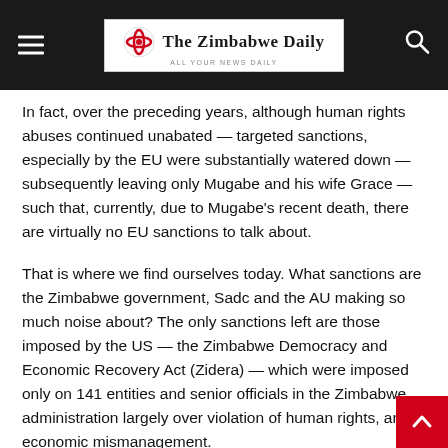The Zimbabwe Daily
In fact, over the preceding years, although human rights abuses continued unabated — targeted sanctions, especially by the EU were substantially watered down — subsequently leaving only Mugabe and his wife Grace — such that, currently, due to Mugabe's recent death, there are virtually no EU sanctions to talk about.
That is where we find ourselves today. What sanctions are the Zimbabwe government, Sadc and the AU making so much noise about? The only sanctions left are those imposed by the US — the Zimbabwe Democracy and Economic Recovery Act (Zidera) — which were imposed only on 141 entities and senior officials in the Zimbabwe administration largely over violation of human rights, and economic mismanagement.